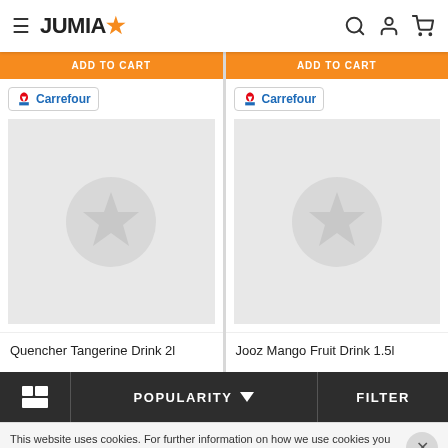[Figure (screenshot): Jumia e-commerce website header with hamburger menu, JUMIA logo with orange star, search icon, user icon, and cart icon]
[Figure (screenshot): Two product cards from Jumia marketplace. Left card: Carrefour seller badge, grey placeholder with star circle, product name 'Quencher Tangerine Drink 2l'. Right card: Carrefour seller badge, grey placeholder with star circle, product name 'Jooz Mango Fruit Drink 1.5l'. Both cards have orange ADD TO CART buttons at top.]
POPULARITY
FILTER
This website uses cookies. For further information on how we use cookies you can read our Privacy and Cookie notice